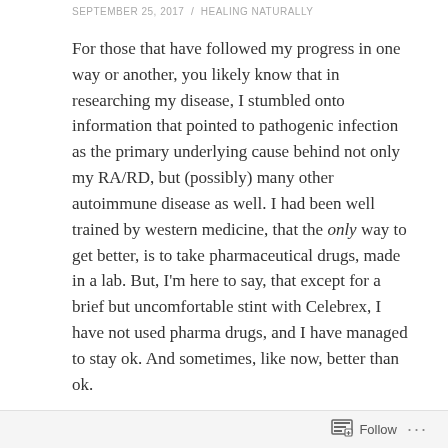SEPTEMBER 25, 2017 / HEALING NATURALLY
For those that have followed my progress in one way or another, you likely know that in researching my disease, I stumbled onto information that pointed to pathogenic infection as the primary underlying cause behind not only my RA/RD, but (possibly) many other autoimmune disease as well. I had been well trained by western medicine, that the only way to get better, is to take pharmaceutical drugs, made in a lab. But, I'm here to say, that except for a brief but uncomfortable stint with Celebrex, I have not used pharma drugs, and I have managed to stay ok. And sometimes, like now, better than ok.

Now, I'm not going to say that my journey has been all